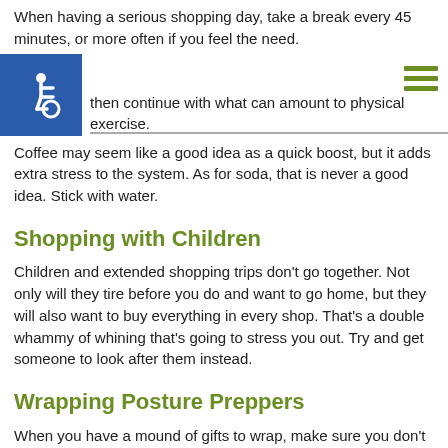When having a serious shopping day, take a break every 45 minutes, or more often if you feel the need.
[Figure (illustration): Blue square accessibility icon with wheelchair symbol, and hamburger menu icon in top right]
...then continue with what can amount to physical exercise.
Coffee may seem like a good idea as a quick boost, but it adds extra stress to the system. As for soda, that is never a good idea. Stick with water.
Shopping with Children
Children and extended shopping trips don't go together. Not only will they tire before you do and want to go home, but they will also want to buy everything in every shop. That's a double whammy of whining that's going to stress you out. Try and get someone to look after them instead.
Wrapping Posture Preppers
When you have a mound of gifts to wrap, make sure you don't sit or stand in one position for too long, or you'll start to ache. Vary your position, but avoid wrapping while sitting on the floor, even when